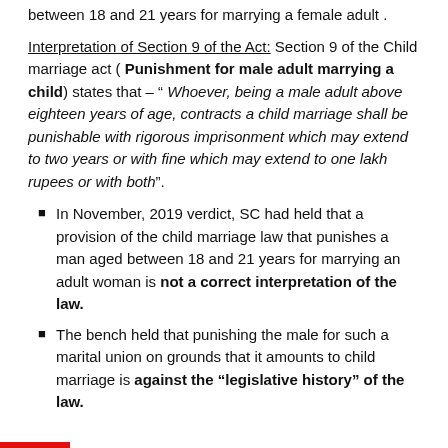between 18 and 21 years for marrying a female adult.
Interpretation of Section 9 of the Act: Section 9 of the Child marriage act ( Punishment for male adult marrying a child) states that – " Whoever, being a male adult above eighteen years of age, contracts a child marriage shall be punishable with rigorous imprisonment which may extend to two years or with fine which may extend to one lakh rupees or with both".
In November, 2019 verdict, SC had held that a provision of the child marriage law that punishes a man aged between 18 and 21 years for marrying an adult woman is not a correct interpretation of the law.
The bench held that punishing the male for such a marital union on grounds that it amounts to child marriage is against the "legislative history" of the law.